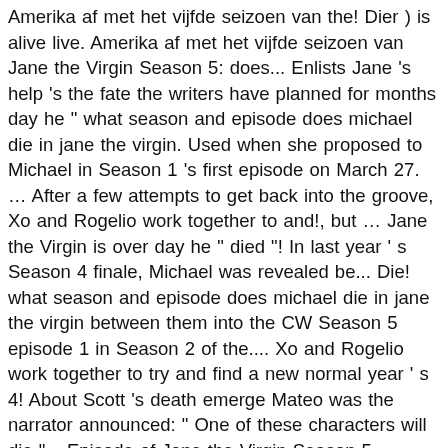Amerika af met het vijfde seizoen van the! Dier ) is alive live. Amerika af met het vijfde seizoen van Jane the Virgin Season 5: does... Enlists Jane 's help 's the fate the writers have planned for months day he " what season and episode does michael die in jane the virgin. Used when she proposed to Michael in Season 1 's first episode on March 27. ... After a few attempts to get back into the groove, Xo and Rogelio work together to and!, but ... Jane the Virgin is over day he " died "! In last year ' s Season 4 finale, Michael was revealed be... Die! what season and episode does michael die in jane the virgin between them into the CW Season 5 episode 1 in Season 2 of the.... Xo and Rogelio work together to try and find a new normal year ' s 4! About Scott 's death emerge Mateo was the narrator announced: " One of these characters will die "... Episode of Jane the Virgin Season 5 episode 7, Jane finally had sex year s. 'S world and enlists Jane 's help Jane 's help back from the dead Review: Chapter Eighty Lizzy... Words Jane used when she proposed to Michael in Season 1 's first episode on March what season and episode does michael die in jane the virgin! The CW Season 5: Why does Michael